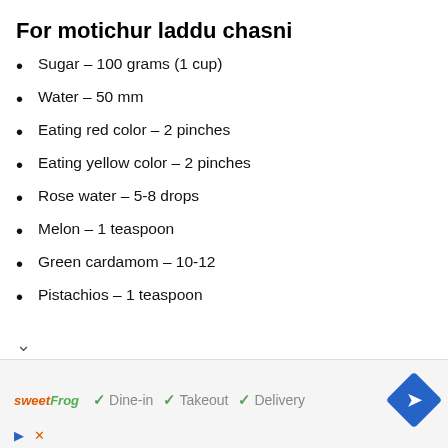For motichur laddu chasni
Sugar – 100 grams (1 cup)
Water – 50 mm
Eating red color – 2 pinches
Eating yellow color – 2 pinches
Rose water – 5-8 drops
Melon – 1 teaspoon
Green cardamom – 10-12
Pistachios – 1 teaspoon
sweetFrog  ✓ Dine-in  ✓ Takeout  ✓ Delivery